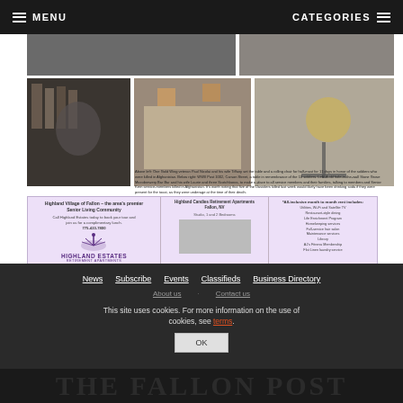MENU   CATEGORIES
[Figure (photo): Multiple photos: top bar photo, Gold Wing veterans Paul Nicolai and wife Tiffany at table, empty table with flag at half-mast, candle in remembrance, bar scene with person in background, table with drinks and papers]
Above left: One Gold Wing veteran Paul Nicolai and his wife Tiffany set the table and a rolling chair for half-mast for 11 days in honor of the soldiers who were killed in Afghanistan. Below right: WWII Post 1002, Carson Street, a table in remembrance of the 13 soldiers. Left: A old hole-in-the-wall Stone Grove Microbrewery Bar Bar and his wife Laurie and three Scotchboros, to make a place to all service members and their families, talking to members and Senior Kern service-members killed in Afghanistan. It's worth noting that five of the Davidiers killed last week would likely have been drinking soda if they were present for the toast, as they were underage at the time of their death.
[Figure (photo): Highland Estates Retirement Apartments advertisement banner]
Highland Village of Fallon – the area's premier Senior Living Community. Call Highland Estates today to book your tour and join us for a complimentary lunch. 775-423-7800. Highland Estates Retirement Apartments. Highland Candies Retirement Apartments Fallon, NV. Studio, 1 and 2 Bedrooms. *All-inclusive month to month rent includes: Utilities, Wi-Fi and Satellite TV, Restaurant style dining, Life Enrichment Program, Homekeeping services, Full-service hair salon, Maintenance services, Library, Aj's Fitness Membership, Flat Linen laundry service.
News  Subscribe  Events  Classifieds  Business Directory
About us  Contact us
This site uses cookies. For more information on the use of cookies, see terms.
OK
THE FALLON POST